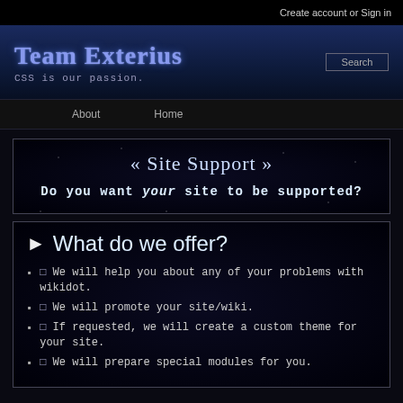Create account or Sign in
Team Exterius
CSS is our passion.
About   Home
« Site Support »
Do you want your site to be supported?
What do we offer?
❑ We will help you about any of your problems with wikidot.
❑ We will promote your site/wiki.
❑ If requested, we will create a custom theme for your site.
❑ We will prepare special modules for you.